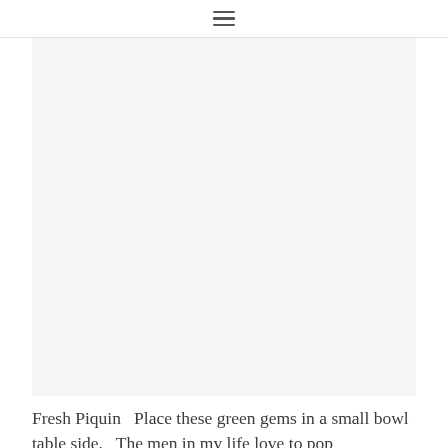≡
[Figure (photo): Large light gray rectangular image placeholder area representing a photo of fresh piquin peppers]
Fresh Piquin  Place these green gems in a small bowl table side.  The men in my life love to pop